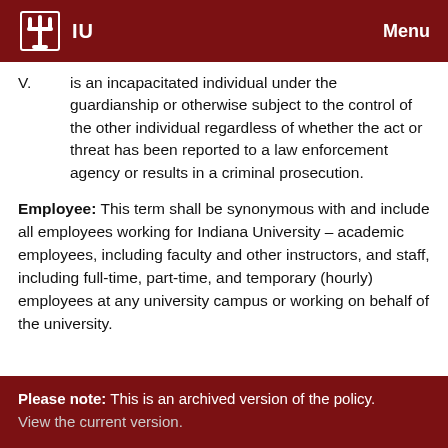IU  Menu
V. is an incapacitated individual under the guardianship or otherwise subject to the control of the other individual regardless of whether the act or threat has been reported to a law enforcement agency or results in a criminal prosecution.
Employee: This term shall be synonymous with and include all employees working for Indiana University – academic employees, including faculty and other instructors, and staff, including full-time, part-time, and temporary (hourly) employees at any university campus or working on behalf of the university.
Please note: This is an archived version of the policy. View the current version.